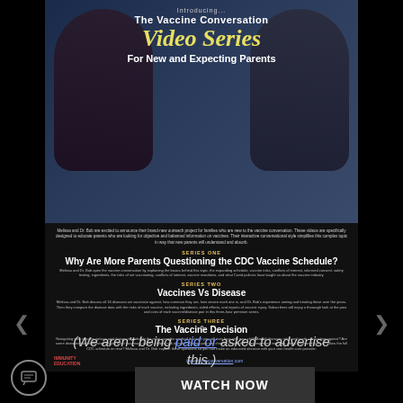[Figure (photo): Promotional image showing two people (a woman on left and man on right) with text overlay: 'Introducing... The Vaccine Conversation Video Series For New and Expecting Parents']
Melissa and Dr. Bob are excited to announce their brand-new outreach project for families who are new to the vaccine conversation. These videos are specifically designed to educate parents who are looking for objective and balanced information on vaccines. Their interactive conversational style simplifies this complex topic in way that new parents will understand and absorb.
SERIES ONE
Why Are More Parents Questioning the CDC Vaccine Schedule?
Melissa and Dr. Bob open the vaccine conversation by explaining the basics behind this topic, the expanding schedule, vaccine risks, conflicts of interest, informed consent, safety testing, ingredients, the risks of not vaccinating, conflicts of interest, vaccine mandates, and what Covid policies have taught us about the vaccine industry.
SERIES TWO
Vaccines Vs Disease
Melissa and Dr. Bob discuss all 16 diseases we vaccinate against, how common they are, how severe each one is, and Dr. Bob's experience seeing and treating these over the years. Then they compare the disease data with the risks of each vaccine, including ingredients, sided effects, and reports of vaccine injury. Subscribers will enjoy a thorough look at the pros and cons of each vaccine/disease pair in this three-hour premium series.
SERIES THREE
The Vaccine Decision
Navigating your vaccine options and choices is probably the most complex medical decision you will ever face with your child. Are all diseases risky and worth vaccinating against? Are some diseases non-eliminated? If you don't vaccinate, is your child at risk of harm? Do you pick and choose among the more important vaccines, delay them until later, or follow the full CDC schedule on time? Melissa and Dr. Bob explore these questions so you can make an educated decision with your own health care provider.
theyvacineconversation.com
(We aren't being paid or asked to advertise this.)
WATCH NOW